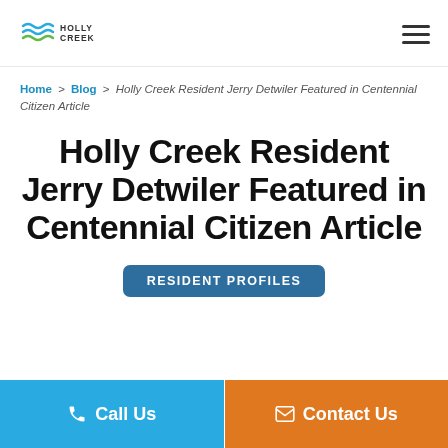Holly Creek
Home > Blog > Holly Creek Resident Jerry Detwiler Featured in Centennial Citizen Article
Holly Creek Resident Jerry Detwiler Featured in Centennial Citizen Article
RESIDENT PROFILES
Call Us
Contact Us